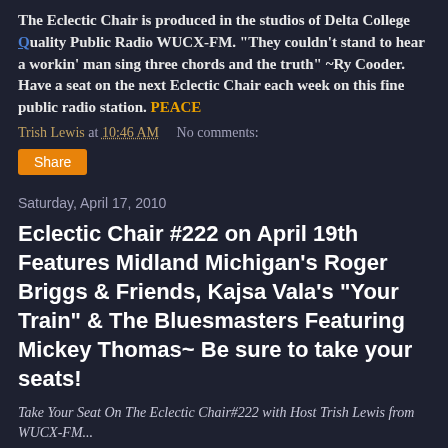The Eclectic Chair is produced in the studios of Delta College Quality Public Radio WUCX-FM. "They couldn't stand to hear a workin' man sing three chords and the truth" ~Ry Cooder. Have a seat on the next Eclectic Chair each week on this fine public radio station. PEACE
Trish Lewis at 10:46 AM    No comments:
Share
Saturday, April 17, 2010
Eclectic Chair #222 on April 19th Features Midland Michigan's Roger Briggs & Friends, Kajsa Vala's "Your Train" & The Bluesmasters Featuring Mickey Thomas~ Be sure to take your seats!
Take Your Seat On The Eclectic Chair#222 with Host Trish Lewis from WUCX-FM...